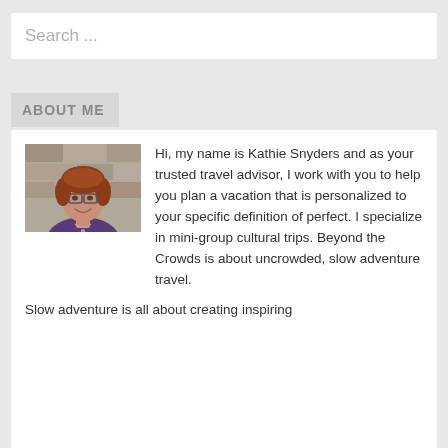Search ...
ABOUT ME
[Figure (photo): Headshot photo of Kathie Snyders, a woman with short reddish hair and glasses, wearing a purple top, smiling in front of a stone wall background.]
Hi, my name is Kathie Snyders and as your trusted travel advisor, I work with you to help you plan a vacation that is personalized to your specific definition of perfect. I specialize in mini-group cultural trips. Beyond the Crowds is about uncrowded, slow adventure travel.
Slow adventure is all about creating inspiring